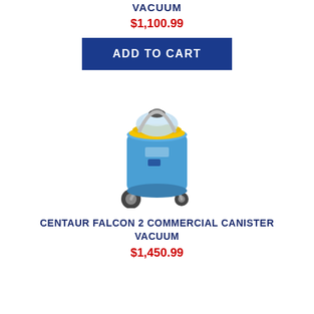VACUUM
$1,100.99
ADD TO CART
[Figure (photo): Blue cylindrical commercial canister vacuum cleaner on wheels with yellow lid and metal handle frame]
CENTAUR FALCON 2 COMMERCIAL CANISTER VACUUM
$1,450.99